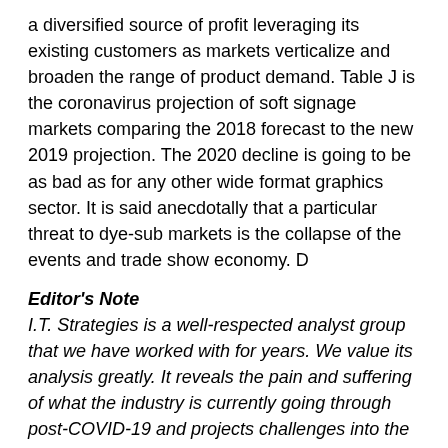a diversified source of profit leveraging its existing customers as markets verticalize and broaden the range of product demand. Table J is the coronavirus projection of soft signage markets comparing the 2018 forecast to the new 2019 projection. The 2020 decline is going to be as bad as for any other wide format graphics sector. It is said anecdotally that a particular threat to dye-sub markets is the collapse of the events and trade show economy. D
Editor's Note
I.T. Strategies is a well-respected analyst group that we have worked with for years. We value its analysis greatly. It reveals the pain and suffering of what the industry is currently going through post-COVID-19 and projects challenges into the future. However, the analysis is one of many and depending on the segment of the industry we discuss, some projections may be more positive. We of course invite commentary on this in the following months. Contact mdonovan@rockportpubs.com to share your insights.